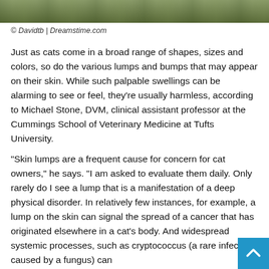[Figure (photo): Photograph strip showing outdoor foliage/plants scene at top of page]
© Davidtb | Dreamstime.com
Just as cats come in a broad range of shapes, sizes and colors, so do the various lumps and bumps that may appear on their skin. While such palpable swellings can be alarming to see or feel, they're usually harmless, according to Michael Stone, DVM, clinical assistant professor at the Cummings School of Veterinary Medicine at Tufts University.
“Skin lumps are a frequent cause for concern for cat owners,” he says. “I am asked to evaluate them daily. Only rarely do I see a lump that is a manifestation of a deep physical disorder. In relatively few instances, for example, a lump on the skin can signal the spread of a cancer that has originated elsewhere in a cat’s body. And widespread systemic processes, such as cryptococcus (a rare infection caused by a fungus) can